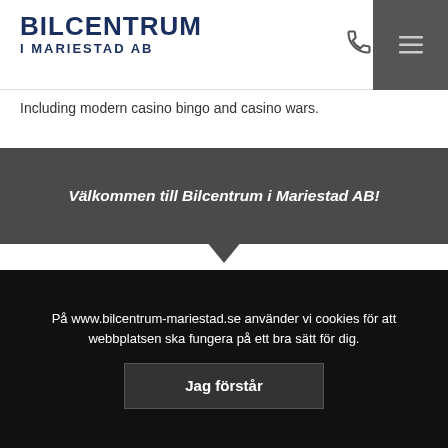BILCENTRUM I MARIESTAD AB
Including modern casino bingo and casino wars.
Välkommen till Bilcentrum i Mariestad AB!
Kontakta oss
0501-710 70
På www.bilcentrum-mariestad.se använder vi cookies för att webbplatsen ska fungera på ett bra sätt för dig.
Jag förstår